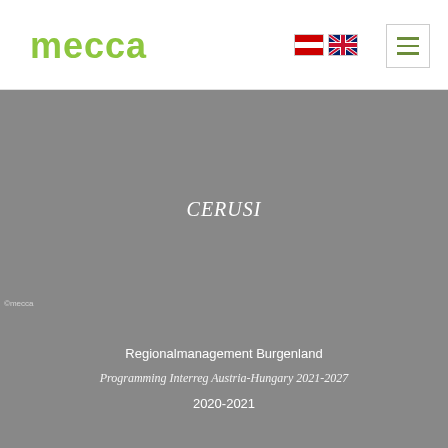[Figure (logo): mecca logo in green/lime color]
[Figure (illustration): Austrian flag and UK/English flag icons]
[Figure (illustration): Hamburger menu button with green lines]
CERUSI
©mecca
Regionalmanagement Burgenland
Programming Interreg Austria-Hungary 2021-2027
2020-2021
©John Hain/Pixabay